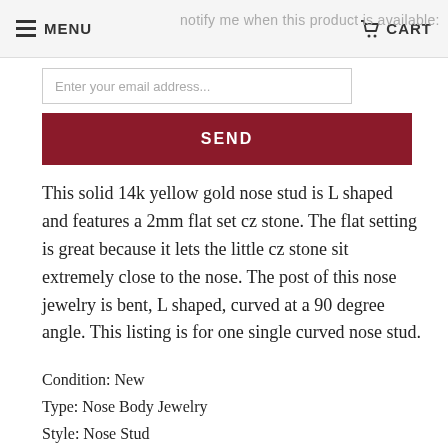MENU | notify me when this product is available: | CART
Enter your email address...
SEND
This solid 14k yellow gold nose stud is L shaped and features a 2mm flat set cz stone. The flat setting is great because it lets the little cz stone sit extremely close to the nose. The post of this nose jewelry is bent, L shaped, curved at a 90 degree angle. This listing is for one single curved nose stud.
Condition: New
Type: Nose Body Jewelry
Style: Nose Stud
Shape: L Shaped